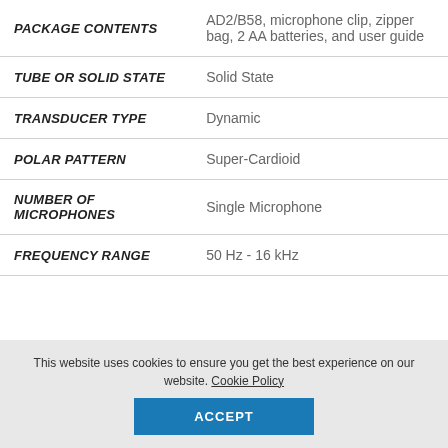| Specification | Value |
| --- | --- |
| PACKAGE CONTENTS | AD2/B58, microphone clip, zipper bag, 2 AA batteries, and user guide |
| TUBE OR SOLID STATE | Solid State |
| TRANSDUCER TYPE | Dynamic |
| POLAR PATTERN | Super-Cardioid |
| NUMBER OF MICROPHONES | Single Microphone |
| FREQUENCY RANGE | 50 Hz - 16 kHz |
This website uses cookies to ensure you get the best experience on our website. Cookie Policy
ACCEPT